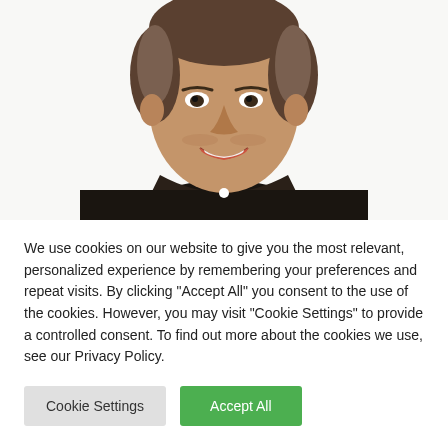[Figure (photo): A smiling man with short dark hair and stubble, wearing a black polo shirt with a white button, photographed from the shoulders up against a white background.]
We use cookies on our website to give you the most relevant, personalized experience by remembering your preferences and repeat visits. By clicking "Accept All" you consent to the use of the cookies. However, you may visit "Cookie Settings" to provide a controlled consent. To find out more about the cookies we use, see our Privacy Policy.